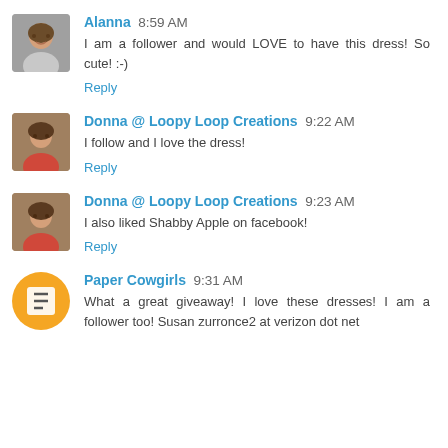Alanna 8:59 AM
I am a follower and would LOVE to have this dress! So cute! :-)
Reply
Donna @ Loopy Loop Creations 9:22 AM
I follow and I love the dress!
Reply
Donna @ Loopy Loop Creations 9:23 AM
I also liked Shabby Apple on facebook!
Reply
Paper Cowgirls 9:31 AM
What a great giveaway! I love these dresses! I am a follower too! Susan zurronce2 at verizon dot net